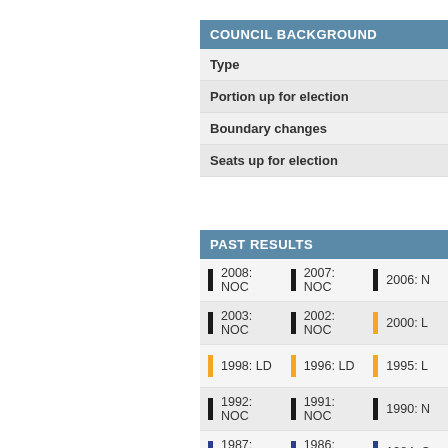| COUNCIL BACKGROUND |
| --- |
| Type |
| Portion up for election |
| Boundary changes |
| Seats up for election |
| PAST RESULTS |
| --- |
| 2008: NOC | 2007: NOC | 2006: N... |
| 2003: NOC | 2002: NOC | 2000: L... |
| 1998: LD | 1996: LD | 1995: L... |
| 1992: NOC | 1991: NOC | 1990: N... |
| 1987: CON | 1986: CON | 1984: C... |
| 1979: CON | 1976: CON | 1973: C... |